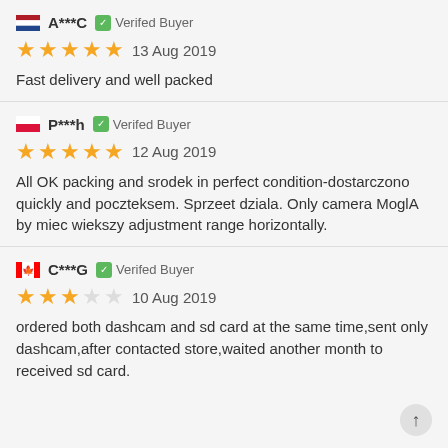A***C — Verifed Buyer — 13 Aug 2019 — Fast delivery and well packed
P***h — Verifed Buyer — 12 Aug 2019 — All OK packing and srodek in perfect condition-dostarczono quickly and poczteksem. Sprzeet dziala. Only camera MoglA by miec wiekszy adjustment range horizontally.
C***G — Verifed Buyer — 10 Aug 2019 — ordered both dashcam and sd card at the same time,sent only dashcam,after contacted store,waited another month to received sd card.